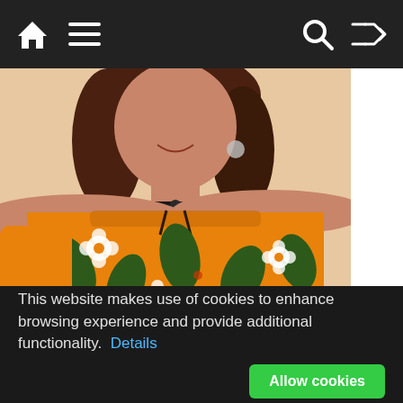Navigation bar with home, menu, search, and shuffle icons
[Figure (photo): Woman wearing an off-shoulder orange floral dress with white flowers and green leaves pattern, smiling, with a choker necklace]
This website makes use of cookies to enhance browsing experience and provide additional functionality. Details  Allow cookies